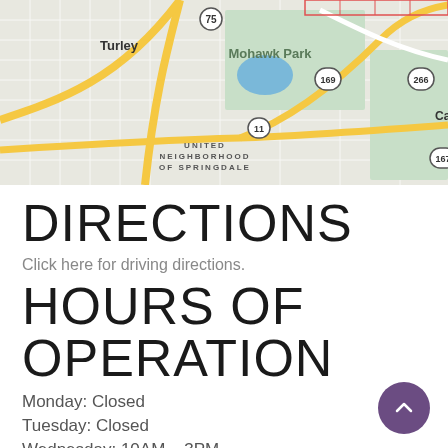[Figure (map): Street map showing Turley, Mohawk Park, United Neighborhood of Springdale area in Tulsa, Oklahoma with highway routes 75, 169, 11, 266, 167 visible]
DIRECTIONS
Click here for driving directions.
HOURS OF OPERATION
Monday: Closed
Tuesday: Closed
Wednesday: 10AM – 3PM
Thursday: 10AM – 3PM
Friday: 10AM – 3PM